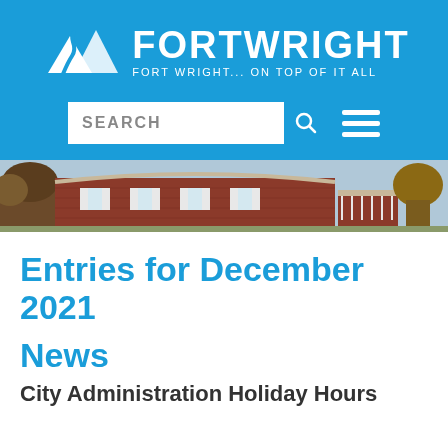[Figure (logo): Fort Wright city logo with mountain/road icon and text 'FORTWRIGHT — Fort Wright... on TOP of it all' on blue background with search bar and hamburger menu]
[Figure (photo): Photograph of a brick building with white shuttered windows and a porch, surrounded by trees]
Entries for December 2021
News
City Administration Holiday Hours